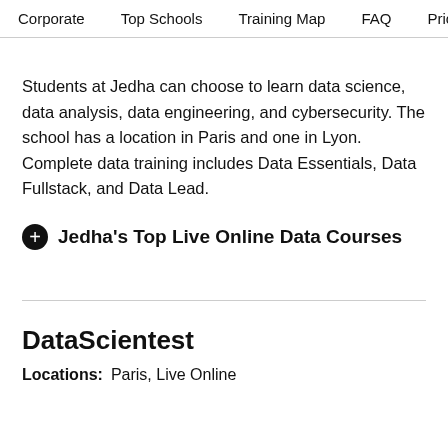Corporate   Top Schools   Training Map   FAQ   Pricing
Students at Jedha can choose to learn data science, data analysis, data engineering, and cybersecurity. The school has a location in Paris and one in Lyon. Complete data training includes Data Essentials, Data Fullstack, and Data Lead.
Jedha's Top Live Online Data Courses
DataScientest
Locations:  Paris, Live Online